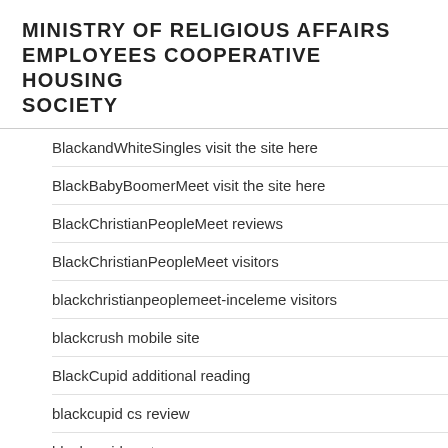MINISTRY OF RELIGIOUS AFFAIRS EMPLOYEES COOPERATIVE HOUSING SOCIETY
BlackandWhiteSingles visit the site here
BlackBabyBoomerMeet visit the site here
BlackChristianPeopleMeet reviews
BlackChristianPeopleMeet visitors
blackchristianpeoplemeet-inceleme visitors
blackcrush mobile site
BlackCupid additional reading
blackcupid cs review
blackcupid czat
Blackcupid dating